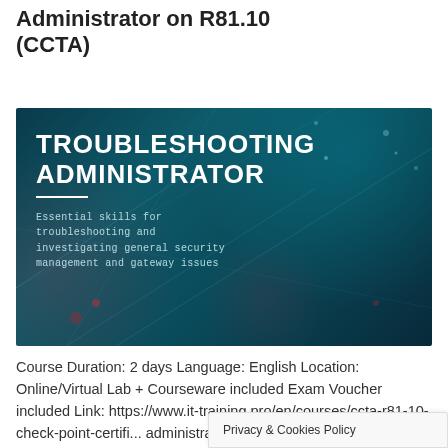Administrator on R81.10 (CCTA)
[Figure (illustration): Troubleshooting Administrator course banner — dark teal network/tech background with white text 'TROUBLESHOOTING ADMINISTRATOR', a white horizontal rule, and subtitle text 'Essential skills for troubleshooting and investigating general security management and gateway issues']
Course Duration: 2 days Language: English Location: Online/Virtual Lab + Courseware included Exam Voucher included Link: https://www.it-training.pro/en/courses/ccta-r81-10-check-point-certifi... administrator-on-r81-10
Privacy & Cookies Policy